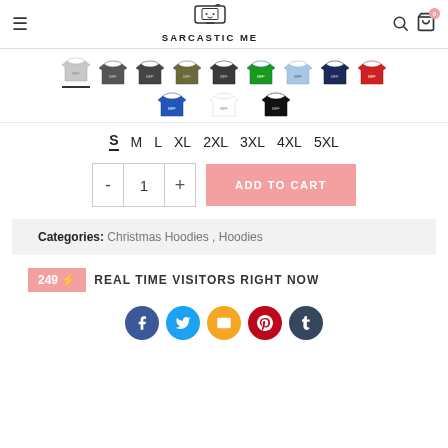Sarcastic Me — navigation header with logo, search, and cart
[Figure (photo): Grid of hoodie color swatches: light grey (selected), dark grey, charcoal, olive, dark charcoal, green, light blue, navy, red (row 1); blue, white, black (row 2)]
S  M  L  XL  2XL  3XL  4XL  5XL — size selector, S active
Quantity selector: - 1 + and ADD TO CART button
Categories: Christmas Hoodies, Hoodies
249 ⚡ REAL TIME VISITORS RIGHT NOW
[Figure (illustration): Social sharing icons: Facebook (blue), Twitter (light blue), Email (orange/yellow), Pinterest (red), Tumblr (dark blue-grey)]